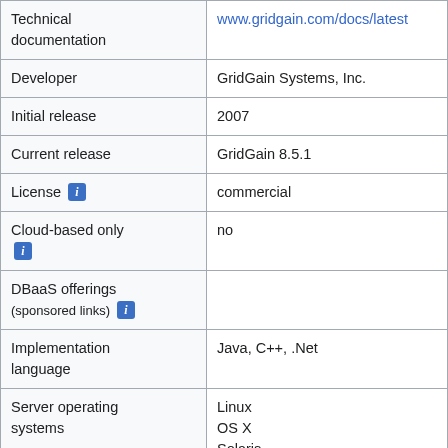| Property | Value |
| --- | --- |
| Technical documentation | www.gridgain.com/docs/latest |
| Developer | GridGain Systems, Inc. |
| Initial release | 2007 |
| Current release | GridGain 8.5.1 |
| License [i] | commercial |
| Cloud-based only [i] | no |
| DBaaS offerings (sponsored links) [i] |  |
| Implementation language | Java, C++, .Net |
| Server operating systems | Linux
OS X
Solaris
Windows |